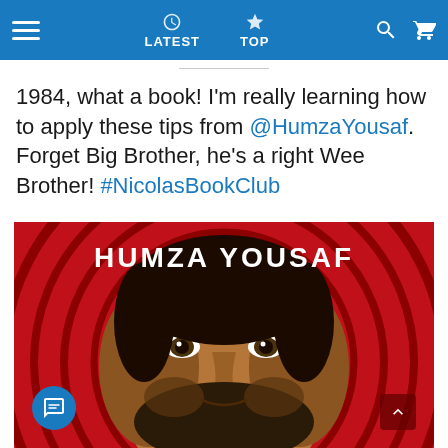LATEST | TOP
1984, what a book! I'm really learning how to apply these tips from @HumzaYousaf. Forget Big Brother, he's a right Wee Brother! #NicolasBookClub
[Figure (photo): Photo of Humza Yousaf against a red concentric-circle background with white text 'HUMZA YOUSAF' overlaid at the top]